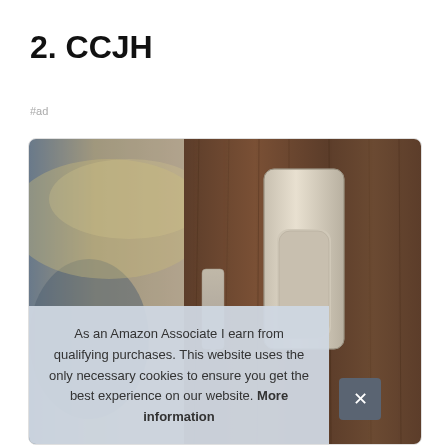2. CCJH
#ad
[Figure (photo): Product photo showing a flush pull door handle on a wood panel door, with a blurred interior background on the left side]
As an Amazon Associate I earn from qualifying purchases. This website uses the only necessary cookies to ensure you get the best experience on our website. More information